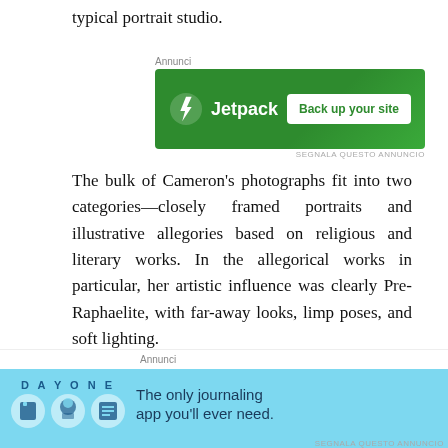typical portrait studio.
[Figure (screenshot): Jetpack advertisement banner: green background with Jetpack logo and 'Back up your site' button. Labeled 'Annunci' at top.]
The bulk of Cameron's photographs fit into two categories—closely framed portraits and illustrative allegories based on religious and literary works. In the allegorical works in particular, her artistic influence was clearly Pre-Raphaelite, with far-away looks, limp poses, and soft lighting.
Anna
[Figure (screenshot): Day One journaling app advertisement: light blue background with icons and 'The only journaling app you'll ever need.' text. Labeled 'Annunci' at top.]